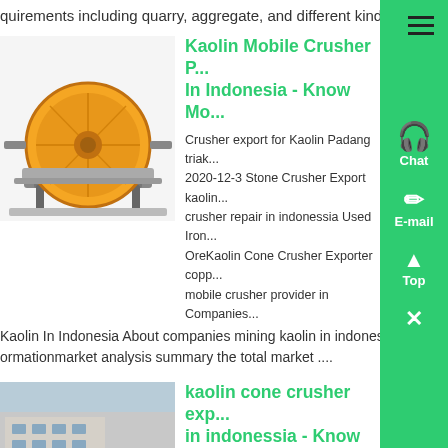quirements including quarry, aggregate, and different kinds of ...
[Figure (photo): Yellow ball mill / drum crusher machine on a metal frame]
Kaolin Mobile Crusher P... In Indonesia - Know Mo...
Crusher export for Kaolin Padang triak... 2020-12-3 Stone Crusher Export kaolin... crusher repair in indonessia Used Iron... OreKaolin Cone Crusher Exporter copp... mobile crusher provider in Companies...
Kaolin In Indonesia About companies mining kaolin in indonesia-related informationmarket analysis summary the total market ....
[Figure (photo): Industrial mobile crusher truck / processing plant on flatbed trailer]
kaolin cone crusher exp... in indonessia - Know Mo...
kaolin cone crusher exporter in indones... Kaolin Crusher Exporter In Indonessia... Cone Crusher Exporter In Indonessia W... largescale manufacturer specializing in...